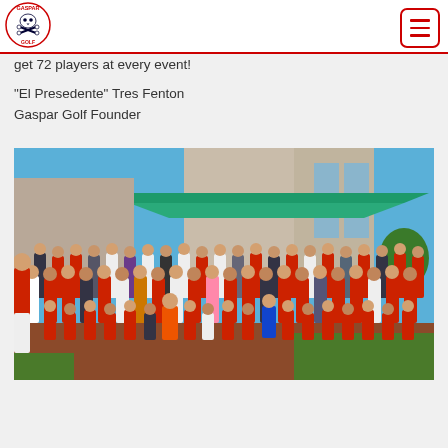Gaspar Golf header with logo and hamburger menu
get 72 players at every event!
"El Presedente" Tres Fenton
Gaspar Golf Founder
[Figure (photo): Group photo of approximately 72 golfers posing in front of a building with a teal/green roof. Many players are wearing red shirts. The group is arranged in rows, with some kneeling in front. Background shows a clear blue sky.]